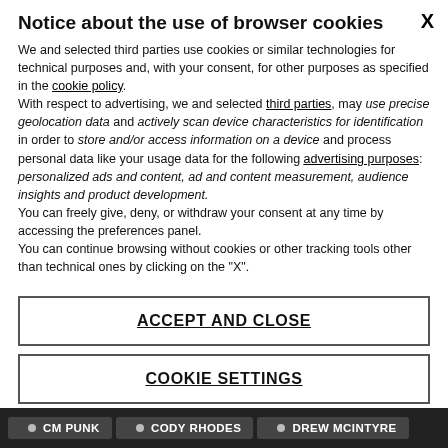Notice about the use of browser cookies
We and selected third parties use cookies or similar technologies for technical purposes and, with your consent, for other purposes as specified in the cookie policy.
With respect to advertising, we and selected third parties, may use precise geolocation data and actively scan device characteristics for identification in order to store and/or access information on a device and process personal data like your usage data for the following advertising purposes: personalized ads and content, ad and content measurement, audience insights and product development.
You can freely give, deny, or withdraw your consent at any time by accessing the preferences panel.
You can continue browsing without cookies or other tracking tools other than technical ones by clicking on the "X".
ACCEPT AND CLOSE
COOKIE SETTINGS
CM PUNK  CODY RHODES  DREW MCINTYRE